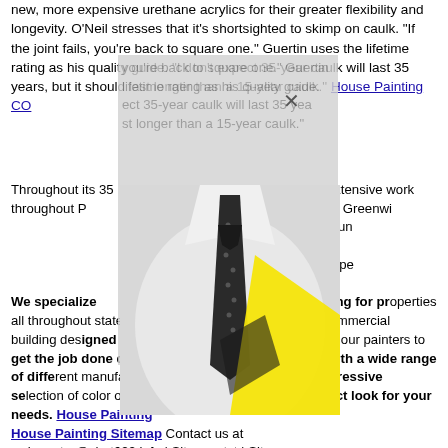new, more expensive urethane acrylics for their greater flexibility and longevity. O'Neil stresses that it's shortsighted to skimp on caulk. "If the joint fails, you're back to square one." Guertin uses the lifetime rating as his quality guide. "I don't expect 35-year caulk will last 35 years, but it should last longer than a 15-year caulk." House Painting CO
[Figure (photo): Photo of a man in a white shirt with black polka-dot tie, overlaid with a yellow triangle shape and a gray overlay box with close X button]
Throughout its 35 years in business, [company] has done extensive work throughout [region], including areas as Darien, Westport, Greenwich, and more. Our service area also extends to Westchester County in New York and beyond. Browse our portfolio of completed projects showcasing our superior workmanship throughout our operations. We specialize in providing both interior and exterior painting for properties all throughout state. Whether it's a small home or a commercial building designed to hold hundreds, you can count on our painters to get the job done quickly and thoroughly. By working with a wide range of different manufacturers, we are able to offer an impressive selection of color options so you can choose the perfect look for your needs. House Painting House Painting Sitemap Contact us at webmaster@chat622.info | Sitemap.txt | Sitemap